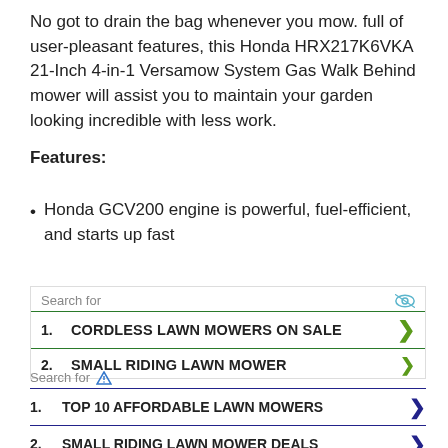No got to drain the bag whenever you mow. full of user-pleasant features, this Honda HRX217K6VKA 21-Inch 4-in-1 Versamow System Gas Walk Behind mower will assist you to maintain your garden looking incredible with less work.
Features:
Honda GCV200 engine is powerful, fuel-efficient, and starts up fast
[Figure (other): Sponsored search ad box 1: Search for CORDLESS LAWN MOWERS ON SALE (1) and SMALL RIDING LAWN MOWER (2), with green chevron arrows and eye icon]
[Figure (other): Sponsored search ad box 2: Search for TOP 10 AFFORDABLE LAWN MOWERS (1) and SMALL RIDING LAWN MOWER DEALS (2), with blue chevron arrows and triangle ad icon. Yahoo! Search | Sponsored footer.]